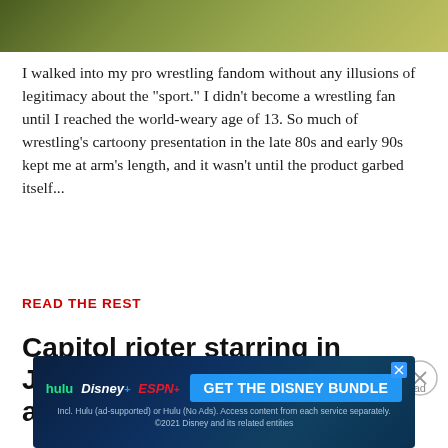[Figure (photo): Partial photo at top of page showing blurred greenish/yellow background, likely a sports or outdoor photo]
I walked into my pro wrestling fandom without any illusions of legitimacy about the "sport." I didn't become a wrestling fan until I reached the world-weary age of 13. So much of wrestling's cartoony presentation in the late 80s and early 90s kept me at arm's length, and it wasn't until the product garbed itself...
READ THE REST
Capitol rioter starring in Jesus Christ Superstar asserts "divine"
[Figure (screenshot): Advertisement banner for Disney Bundle featuring Hulu, Disney+, and ESPN+ logos with GET THE DISNEY BUNDLE call to action button]
Report an ad